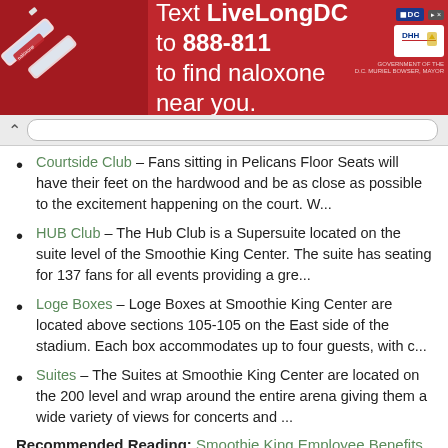[Figure (infographic): Red advertisement banner: Text LiveLongDC to 888-811 to find naloxone near you. Shows syringe/naloxone image on left, DC and DHH logos on right, with a close button.]
Courtside Club – Fans sitting in Pelicans Floor Seats will have their feet on the hardwood and be as close as possible to the excitement happening on the court. W...
HUB Club – The Hub Club is a Supersuite located on the suite level of the Smoothie King Center. The suite has seating for 137 fans for all events providing a gre...
Loge Boxes – Loge Boxes at Smoothie King Center are located above sections 105-105 on the East side of the stadium. Each box accommodates up to four guests, with c...
Suites – The Suites at Smoothie King Center are located on the 200 level and wrap around the entire arena giving them a wide variety of views for concerts and ...
Recommended Reading: Smoothie King Employee Benefits